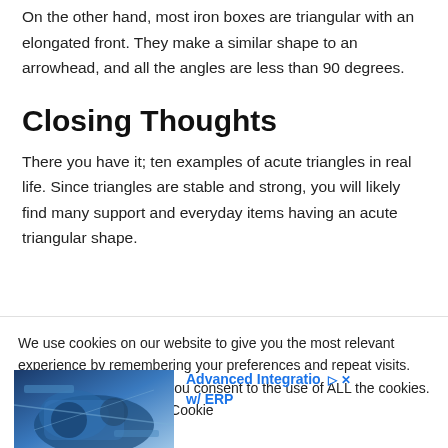On the other hand, most iron boxes are triangular with an elongated front. They make a similar shape to an arrowhead, and all the angles are less than 90 degrees.
Closing Thoughts
There you have it; ten examples of acute triangles in real life. Since triangles are stable and strong, you will likely find many support and everyday items having an acute triangular shape.
We use cookies on our website to give you the most relevant experience by remembering your preferences and repeat visits. By clicking "Accept All", you consent to the use of ALL the cookies. However, you may visit "Cookie
[Figure (photo): Industrial machinery photograph showing blue mechanical components, used as an advertisement image]
Advanced Integratio w/ ERP
Ad